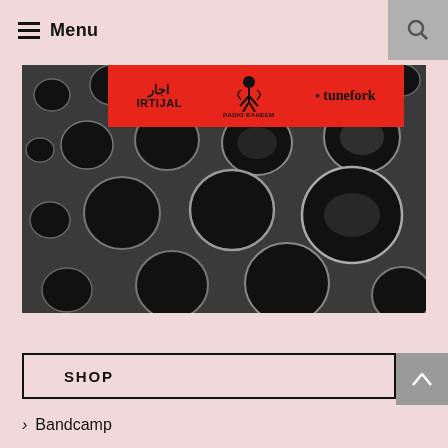Menu
[Figure (photo): Black and white photograph of a perforated surface with multiple circular holes of varying sizes, with a red banner overlay containing logos: IRTIJAL (Arabic and Latin text), Radio Raheem (figure icon), and tunefork]
SHOP
Bandcamp